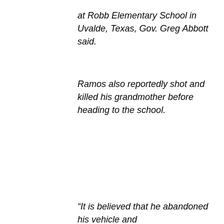at Robb Elementary School in Uvalde, Texas, Gov. Greg Abbott said.
Ramos also reportedly shot and killed his grandmother before heading to the school.
“It is believed that he abandoned his vehicle and